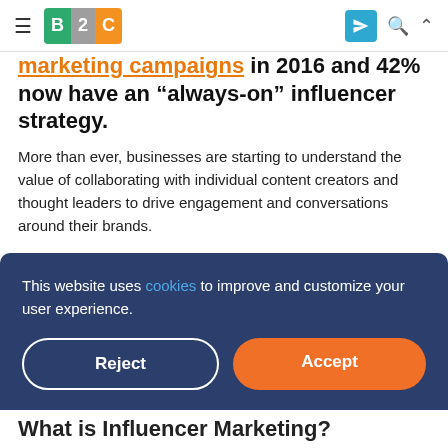B2C [hamburger menu, send icon, search icon, chevron icon]
marketing campaigns in 2016 and 42% now have an “always-on” influencer strategy.
More than ever, businesses are starting to understand the value of collaborating with individual content creators and thought leaders to drive engagement and conversations around their brands.
Planning and managing an influencer marketing program is a big undertaking, but its potential to be a powerful part of your marketing mix can make it worth the effort.
This website uses cookies to improve and customize your user experience.
What is Influencer Marketing?